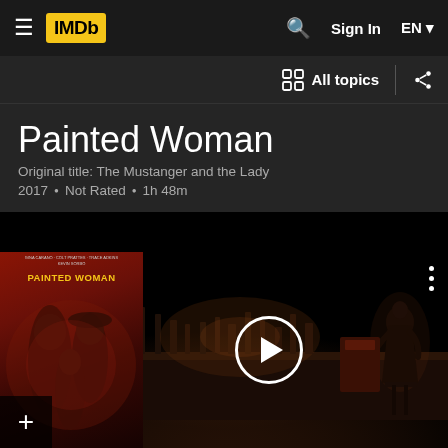IMDb navigation — Sign In, EN
All topics
Painted Woman
Original title: The Mustanger and the Lady
2017 · Not Rated · 1h 48m
[Figure (screenshot): IMDb movie page for Painted Woman (2017), showing a dark cinematic still with a figure silhouetted at a bar, a movie poster overlay in the bottom-left, and a play button in the center.]